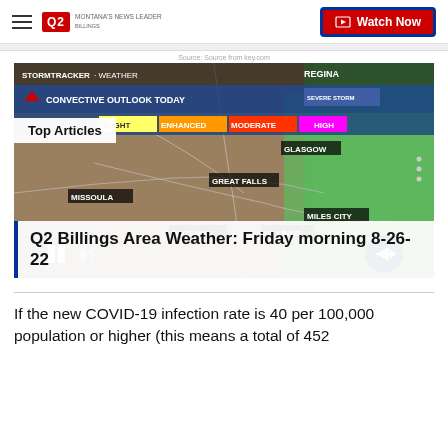Q2 MONTANA'S NEWS LEADER | Watch Now
Source: Source from key.com
[Figure (screenshot): Weather map screenshot showing Montana convective outlook for today with SLIGHT, ENHANCED, MODERATE, HIGH risk levels. Cities shown include Regina, Glasgow, Great Falls, Missoula, Miles City, Bozeman, Billings. Eastern portion highlighted in green indicating severe storm risk.]
Q2 Billings Area Weather: Friday morning 8-26-22
If the new COVID-19 infection rate is 40 per 100,000 population or higher (this means a total of 452